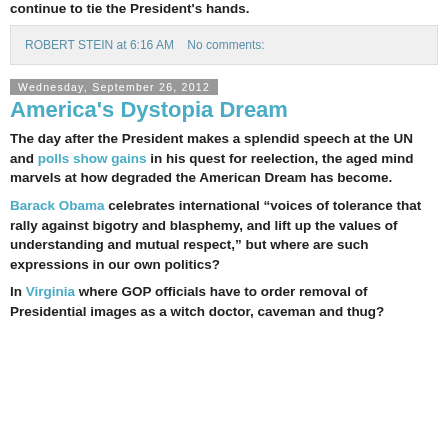continue to tie the President's hands.
ROBERT STEIN at 6:16 AM   No comments:
Wednesday, September 26, 2012
America's Dystopia Dream
The day after the President makes a splendid speech at the UN and polls show gains in his quest for reelection, the aged mind marvels at how degraded the American Dream has become.
Barack Obama celebrates international “voices of tolerance that rally against bigotry and blasphemy, and lift up the values of understanding and mutual respect,” but where are such expressions in our own politics?
In Virginia where GOP officials have to order removal of Presidential images as a witch doctor, caveman and thug?